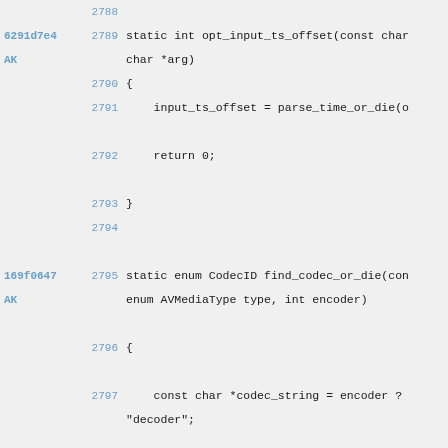Code view showing lines 2789-2801 of a C source file with git blame annotations. Functions: opt_input_ts_offset and find_codec_or_die.